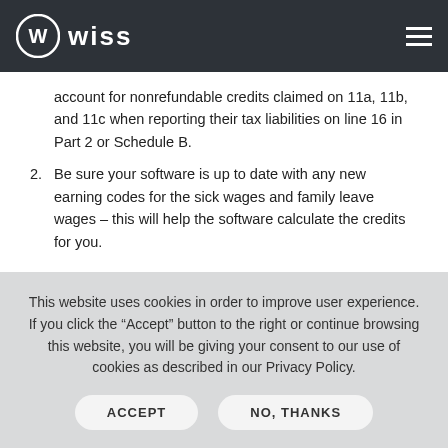Wiss
account for nonrefundable credits claimed on 11a, 11b, and 11c when reporting their tax liabilities on line 16 in Part 2 or Schedule B.
2. Be sure your software is up to date with any new earning codes for the sick wages and family leave wages – this will help the software calculate the credits for you.
This website uses cookies in order to improve user experience. If you click the “Accept” button to the right or continue browsing this website, you will be giving your consent to our use of cookies as described in our Privacy Policy.